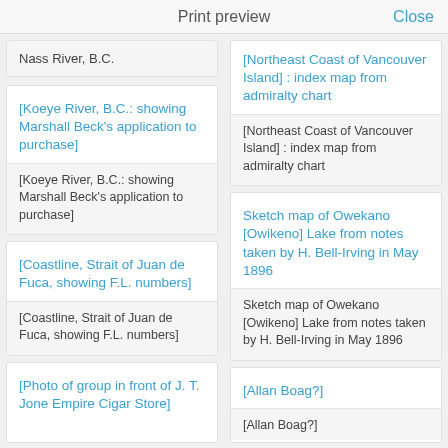Print preview    Close
Nass River, B.C.
[Northeast Coast of Vancouver Island] : index map from admiralty chart
[Northeast Coast of Vancouver Island] : index map from admiralty chart
[Koeye River, B.C.: showing Marshall Beck’s application to purchase]
[Koeye River, B.C.: showing Marshall Beck’s application to purchase]
Sketch map of Owekano [Owikeno] Lake from notes taken by H. Bell-Irving in May 1896
Sketch map of Owekano [Owikeno] Lake from notes taken by H. Bell-Irving in May 1896
[Coastline, Strait of Juan de Fuca, showing F.L. numbers]
[Coastline, Strait of Juan de Fuca, showing F.L. numbers]
[Allan Boag?]
[Allan Boag?]
[Photo of group in front of J. T. Jone Empire Cigar Store]